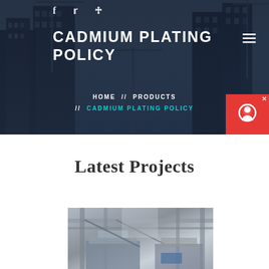[Figure (screenshot): Hero banner with dark-overlaid construction site background showing cranes and skyscrapers under construction]
CADMIUM PLATING POLICY
HOME // PRODUCTS // CADMIUM PLATING POLICY
Latest Projects
[Figure (photo): Industrial construction project photo showing heavy equipment, structural steel, scaffolding inside large facility]